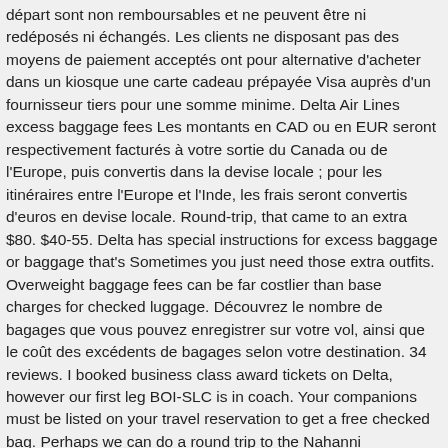départ sont non remboursables et ne peuvent être ni redéposés ni échangés. Les clients ne disposant pas des moyens de paiement acceptés ont pour alternative d'acheter dans un kiosque une carte cadeau prépayée Visa auprès d'un fournisseur tiers pour une somme minime. Delta Air Lines excess baggage fees Les montants en CAD ou en EUR seront respectivement facturés à votre sortie du Canada ou de l'Europe, puis convertis dans la devise locale ; pour les itinéraires entre l'Europe et l'Inde, les frais seront convertis d'euros en devise locale. Round-trip, that came to an extra $80. $40-55. Delta has special instructions for excess baggage or baggage that's Sometimes you just need those extra outfits. Overweight baggage fees can be far costlier than base charges for checked luggage. Découvrez le nombre de bagages que vous pouvez enregistrer sur votre vol, ainsi que le coût des excédents de bagages selon votre destination. 34 reviews. I booked business class award tickets on Delta, however our first leg BOI-SLC is in coach. Your companions must be listed on your travel reservation to get a free checked bag. Perhaps we can do a round trip to the Nahanni